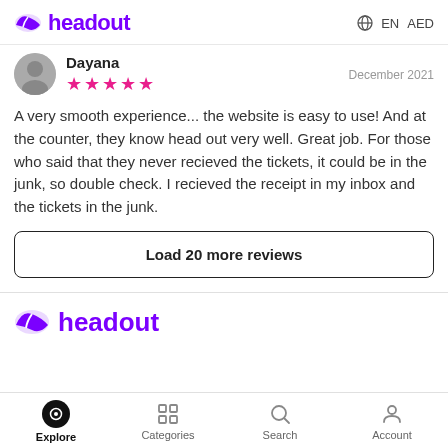headout  EN  AED
Dayana  December 2021  ★★★★★
A very smooth experience... the website is easy to use! And at the counter, they know head out very well. Great job. For those who said that they never recieved the tickets, it could be in the junk, so double check. I recieved the receipt in my inbox and the tickets in the junk.
Load 20 more reviews
[Figure (logo): Headout logo in purple with leaf/wing icon]
Explore  Categories  Search  Account